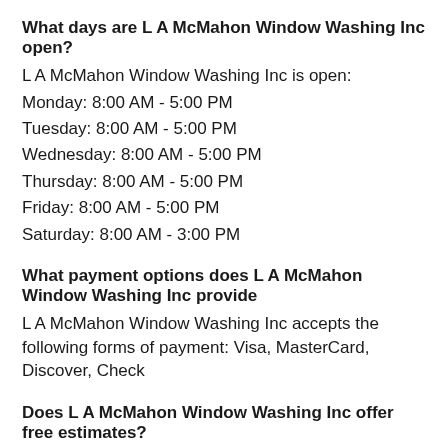What days are L A McMahon Window Washing Inc open?
L A McMahon Window Washing Inc is open:
Monday: 8:00 AM - 5:00 PM
Tuesday: 8:00 AM - 5:00 PM
Wednesday: 8:00 AM - 5:00 PM
Thursday: 8:00 AM - 5:00 PM
Friday: 8:00 AM - 5:00 PM
Saturday: 8:00 AM - 3:00 PM
What payment options does L A McMahon Window Washing Inc provide
L A McMahon Window Washing Inc accepts the following forms of payment: Visa, MasterCard, Discover, Check
Does L A McMahon Window Washing Inc offer free estimates?